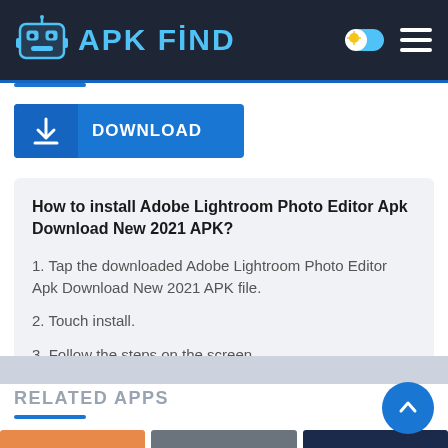APK FİND
[Figure (screenshot): Download button with download icon on left side, blue background, white text reading DOWNLOAD]
How to install Adobe Lightroom Photo Editor Apk Download New 2021 APK?
1. Tap the downloaded Adobe Lightroom Photo Editor Apk Download New 2021 APK file.
2. Touch install.
3. Follow the steps on the screen.
RELATED APPS